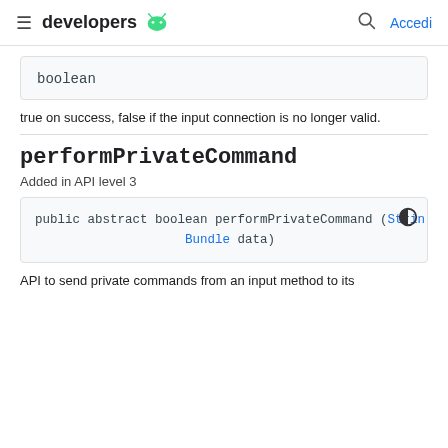developers [android logo] | search | Accedi
boolean
true on success, false if the input connection is no longer valid.
performPrivateCommand
Added in API level 3
public abstract boolean performPrivateCommand (String action, Bundle data)
API to send private commands from an input method to its